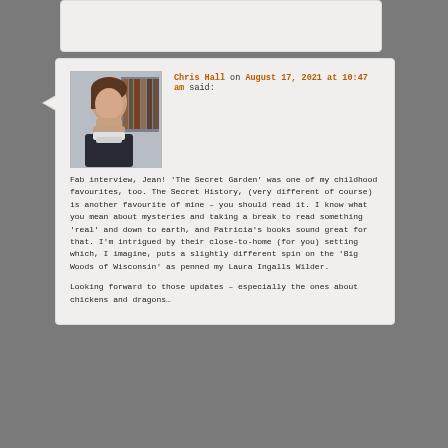[Figure (photo): Profile photo of a woman with short brown hair, chin resting on hand, bookshelves in background]
Chris Hall on August 17, 2021 at 10:47 am said:
Fab interview, Jean! 'The Secret Garden' was one of my childhood favourites, too. The Secret History, (very different of course) is another favourite of mine – you should read it. I know what you mean about mysteries and taking a break to read something 'real' and down to earth, and Patricia's books sound great for that. I'm intrigued by their close-to-home (for you) setting which, I imagine, puts a slightly different spin on the 'Big Woods of Wisconsin' as penned my Laura Ingalls Wilder.
Looking forward to those updates – especially the ones about chickens and dragons…